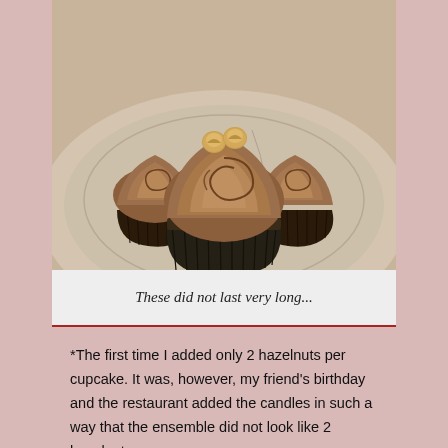[Figure (photo): Three chocolate cupcakes with swirled chocolate frosting and hazelnuts on top, sitting on a beige plate. The cupcakes are in dark brown paper liners.]
These did not last very long...
*The first time I added only 2 hazelnuts per cupcake. It was, however, my friend's birthday and the restaurant added the candles in such a way that the ensemble did not look like 2 hazelnuts